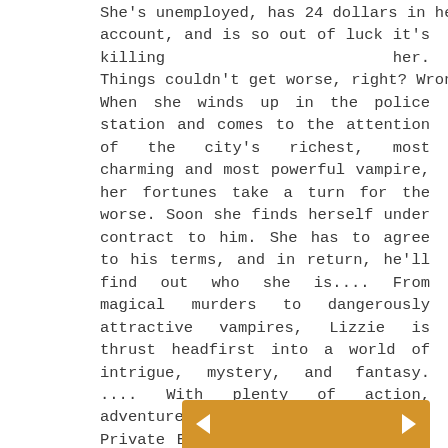She's unemployed, has 24 dollars in her account, and is so out of luck it's killing her. Things couldn't get worse, right? Wrong. When she winds up in the police station and comes to the attention of the city's richest, most charming and most powerful vampire, her fortunes take a turn for the worse. Soon she finds herself under contract to him. She has to agree to his terms, and in return, he'll find out who she is.... From magical murders to dangerously attractive vampires, Lizzie is thrust headfirst into a world of intrigue, mystery, and fantasy. .... With plenty of action, adventure, wit, and romance, Angel: Private Eye is sure to please fans of Witch's Bell. A seven-book series, the first two books are currently available.
[Figure (other): Orange navigation bar with left and right arrow buttons at the bottom of the page]